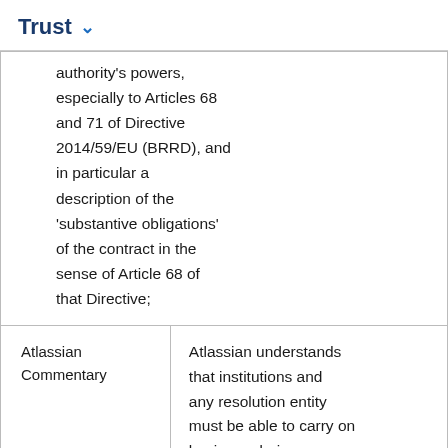Trust
|  | authority's powers, especially to Articles 68 and 71 of Directive 2014/59/EU (BRRD), and in particular a description of the 'substantive obligations' of the contract in the sense of Article 68 of that Directive; |
| Atlassian Commentary | Atlassian understands that institutions and any resolution entity must be able to carry on business during resolution. To provide |